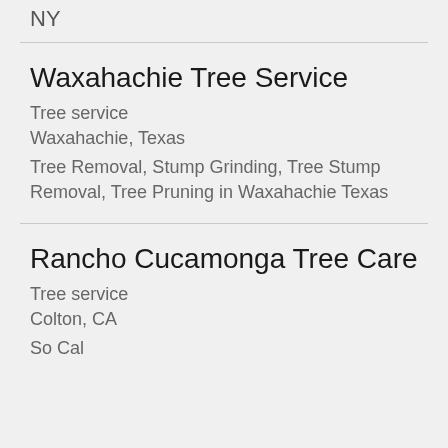NY
Waxahachie Tree Service
Tree service
Waxahachie, Texas
Tree Removal, Stump Grinding, Tree Stump Removal, Tree Pruning in Waxahachie Texas
Rancho Cucamonga Tree Care
Tree service
Colton, CA
So Cal